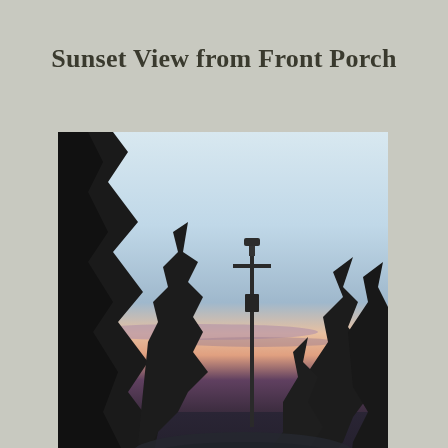Sunset View from Front Porch
[Figure (photo): A photograph taken from a front porch showing a sunset scene: silhouetted trees on the left, a utility/power pole in the middle distance, a warm orange and pink sunset glow on the horizon with a pale blue-white upper sky, and a metal porch railing visible in the foreground at the bottom right. The scene is dark overall with the trees in deep silhouette.]